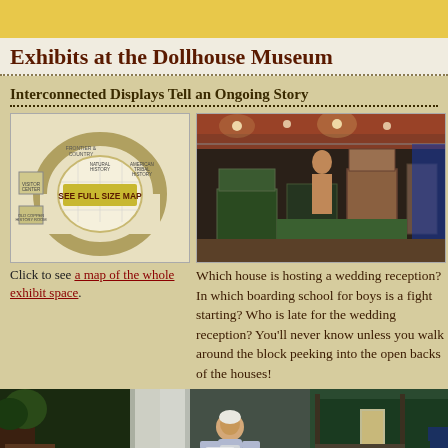Exhibits at the Dollhouse Museum
Interconnected Displays Tell an Ongoing Story
[Figure (photo): Map of the dollhouse museum exhibit space with label SEE FULL SIZE MAP]
[Figure (photo): Interior of dollhouse museum showing display cases with miniature houses]
Click to see a map of the whole exhibit space.
Which house is hosting a wedding reception?  In which boarding school for boys is a fight starting?  Who is late for the wedding reception?  You’ll never know unless you walk around the block peeking into the open backs of the houses!
[Figure (photo): Close-up of dollhouse scene with miniature elderly woman figure on porch]